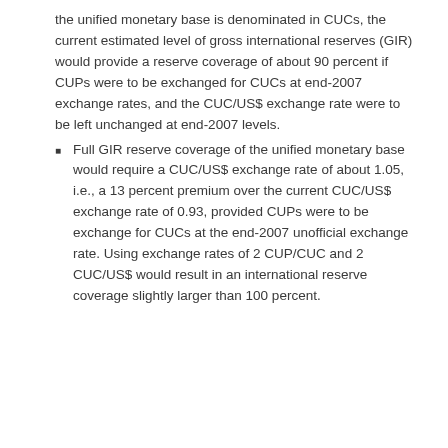the unified monetary base is denominated in CUCs, the current estimated level of gross international reserves (GIR) would provide a reserve coverage of about 90 percent if CUPs were to be exchanged for CUCs at end-2007 exchange rates, and the CUC/US$ exchange rate were to be left unchanged at end-2007 levels.
Full GIR reserve coverage of the unified monetary base would require a CUC/US$ exchange rate of about 1.05, i.e., a 13 percent premium over the current CUC/US$ exchange rate of 0.93, provided CUPs were to be exchange for CUCs at the end-2007 unofficial exchange rate. Using exchange rates of 2 CUP/CUC and 2 CUC/US$ would result in an international reserve coverage slightly larger than 100 percent.